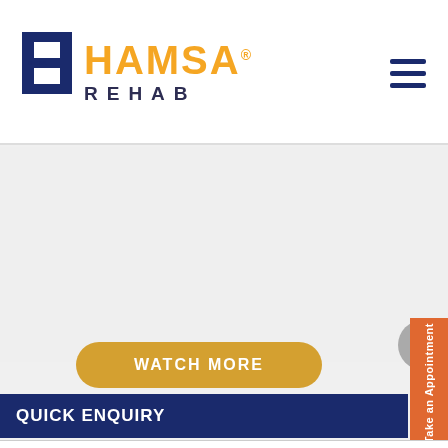[Figure (logo): Hamsa Rehab logo with geometric H icon in navy/dark blue, orange text HAMSA and dark text REHAB with registered trademark symbol]
[Figure (other): Hamburger menu icon with three horizontal dark navy lines]
[Figure (other): Large gray content area, likely a video or image placeholder]
WATCH MORE
[Figure (other): Gray circular scroll-to-top button with upward chevron arrow]
QUICK ENQUIRY
Take an Appointment